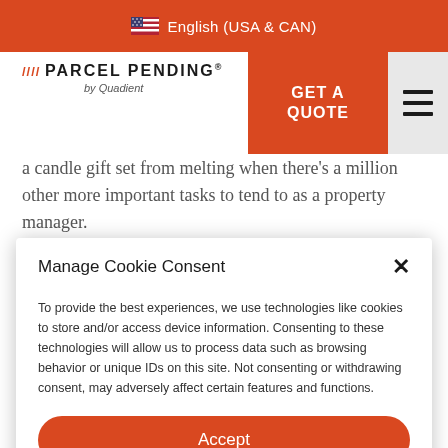English (USA & CAN)
[Figure (logo): Parcel Pending by Quadient logo with orange slashes and wordmark]
GET A QUOTE
a candle gift set from melting when there's a million other more important tasks to tend to as a property manager.
The solution? Refrigerated package lockers. We've written
Manage Cookie Consent
To provide the best experiences, we use technologies like cookies to store and/or access device information. Consenting to these technologies will allow us to process data such as browsing behavior or unique IDs on this site. Not consenting or withdrawing consent, may adversely affect certain features and functions.
Accept
Privacy   Privacy